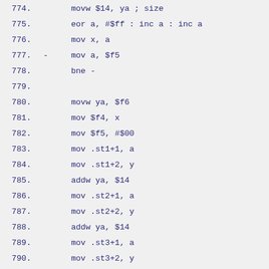774.        movw $14, ya ; size
775.        eor a, #$ff : inc a : inc a
776.        mov x, a
777.  -     mov a, $f5
778.        bne -
779.
780.        movw ya, $f6
781.        mov $f4, x
782.        mov $f5, #$00
783.        mov .st1+1, a
784.        mov .st1+2, y
785.        addw ya, $14
786.        mov .st2+1, a
787.        mov .st2+2, y
788.        addw ya, $14
789.        mov .st3+1, a
790.        mov .st3+2, y
791.        mov y, #$00
792.  -     cmp x, $f4
793.        bne -
794.        dec x
795.
796.  --    mov a, $f5 ; 3 bytes / 40 cycles